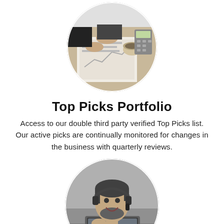[Figure (photo): Circular black and white photo of hands pointing at financial documents/newspaper on a desk with a coffee cup and calculator visible, viewed from above.]
Top Picks Portfolio
Access to our double third party verified Top Picks list. Our active picks are continually monitored for changes in the business with quarterly reviews.
[Figure (photo): Circular black and white photo of a smiling man wearing a headset working on a laptop at a desk.]